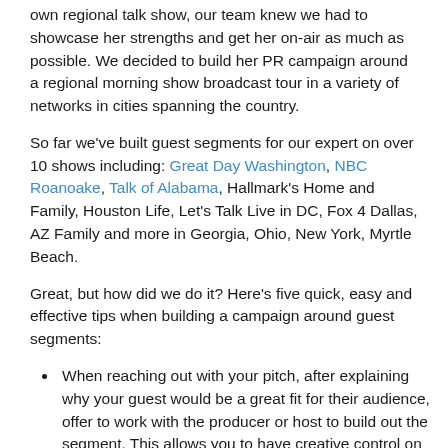own regional talk show, our team knew we had to showcase her strengths and get her on-air as much as possible. We decided to build her PR campaign around a regional morning show broadcast tour in a variety of networks in cities spanning the country.
So far we've built guest segments for our expert on over 10 shows including: Great Day Washington, NBC Roanoake, Talk of Alabama, Hallmark's Home and Family, Houston Life, Let's Talk Live in DC, Fox 4 Dallas, AZ Family and more in Georgia, Ohio, New York, Myrtle Beach.
Great, but how did we do it? Here's five quick, easy and effective tips when building a campaign around guest segments:
When reaching out with your pitch, after explaining why your guest would be a great fit for their audience, offer to work with the producer or host to build out the segment. This allows you to have creative control on behalf of your client and helps out a busy producer by taking the work off their